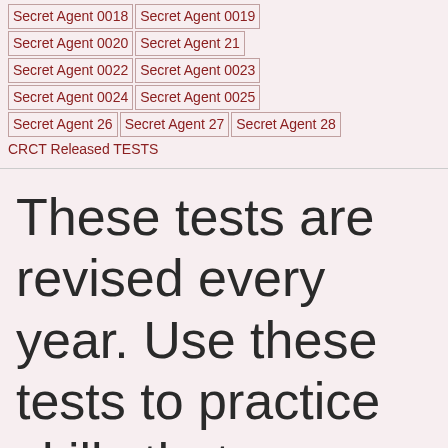Secret Agent 0018  Secret Agent 0019
Secret Agent 0020  Secret Agent 21
Secret Agent 0022  Secret Agent 0023
Secret Agent 0024  Secret Agent 0025
Secret Agent 26  Secret Agent 27  Secret Agent 28
CRCT Released TESTS
These tests are revised every year. Use these tests to practice skills that your child may see on the CRCT!!! It